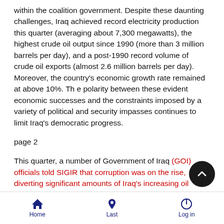within the coalition government. Despite these daunting challenges, Iraq achieved record electricity production this quarter (averaging about 7,300 megawatts), the highest crude oil output since 1990 (more than 3 million barrels per day), and a post-1990 record volume of crude oil exports (almost 2.6 million barrels per day). Moreover, the country's economic growth rate remained at above 10%. Th e polarity between these evident economic successes and the constraints imposed by a variety of political and security impasses continues to limit Iraq's democratic progress.
page 2
This quarter, a number of Government of Iraq (GOI) officials told SIGIR that corruption was on the rise, diverting significant amounts of Iraq's increasing oil income away from pressing economic and social needs. Moreover, Prime Minister Nuri al-Maliki's opponents remained concerned about the continuing